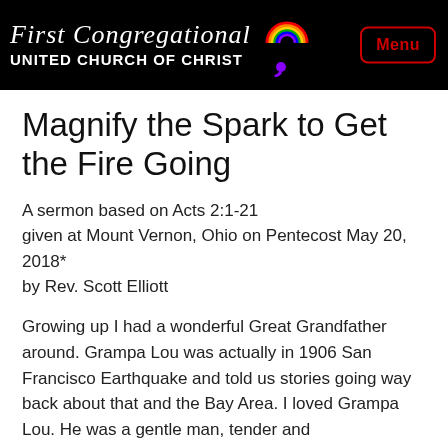First Congregational UNITED CHURCH OF CHRIST
Magnify the Spark to Get the Fire Going
A sermon based on Acts 2:1-21 given at Mount Vernon, Ohio on Pentecost May 20, 2018*
by Rev. Scott Elliott
Growing up I had a wonderful Great Grandfather around. Grampa Lou was actually in 1906 San Francisco Earthquake and told us stories going way back about that and the Bay Area. I loved Grampa Lou. He was a gentle man, tender and